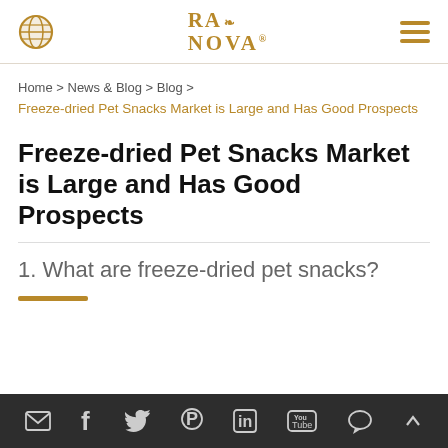RA NOVA (logo with globe icon and hamburger menu)
Home > News & Blog > Blog > Freeze-dried Pet Snacks Market is Large and Has Good Prospects
Freeze-dried Pet Snacks Market is Large and Has Good Prospects
1. What are freeze-dried pet snacks?
advantage freeze-dried pet snacks that they can (social media icons: email, facebook, twitter, pinterest, linkedin, youtube, chat)